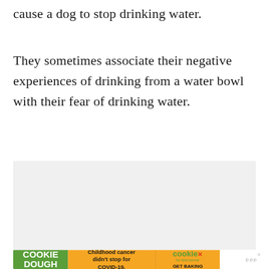cause a dog to stop drinking water.
They sometimes associate their negative experiences of drinking from a water bowl with their fear of drinking water.
[Figure (other): Light gray rectangular placeholder box, likely for an image.]
[Figure (other): Cookie Dough advertisement banner. Left green section reads 'COOKIE DOUGH'. Center orange section reads 'Childhood cancer didn't stop for COVID-19.' Right orange section shows 'cookies for kids cancer GET BAKING' logo with a red X. Far right shows a speaker/volume icon with 'w' superscript degree symbol.]